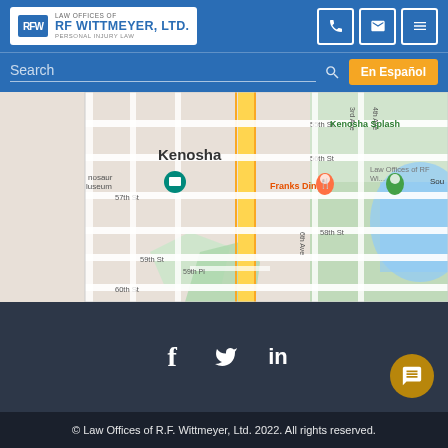LAW OFFICES OF RF WITTMEYER, LTD. PERSONAL INJURY LAW
Search | En Español
[Figure (map): Google Maps screenshot showing Kenosha area with streets including 55th St, 56th St, 57th St, 58th St, 59th St, 59th Pl, 60th St, 3rd Ave, 4th Ave, 6th Ave. Landmarks shown include Kenosha Splash, Southport Marina, Franks Diner, dinosaur museum. Law Offices of RF Wittmeyer marked with orange pin.]
[Figure (infographic): Social media icons: Facebook (f), Twitter (bird), LinkedIn (in) in white on dark background. Gold circular chat/WeChat button on right.]
© Law Offices of R.F. Wittmeyer, Ltd. 2022. All rights reserved.